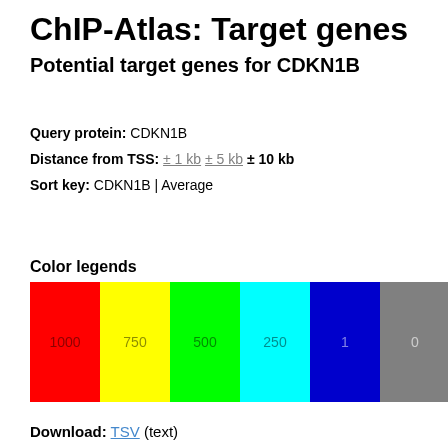ChIP-Atlas: Target genes
Potential target genes for CDKN1B
Query protein: CDKN1B
Distance from TSS: ±1 kb  ±5 kb  ±10 kb
Sort key: CDKN1B | Average
Color legends
[Figure (infographic): Color legend bar showing binding score colors: red=1000, yellow=750, green=500, cyan=250, blue=1, gray=0. Note: Values = Binding scores of MACS2 and STRING]
Download: TSV (text)